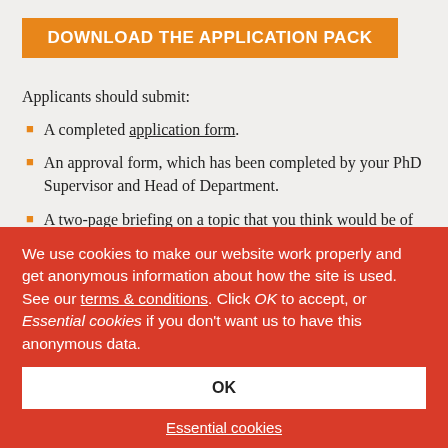DOWNLOAD THE APPLICATION PACK
Applicants should submit:
A completed application form.
An approval form, which has been completed by your PhD Supervisor and Head of Department.
A two-page briefing on a topic that you think would be of current interest to Parliamentarians. The briefing should be completed using the briefing template and should not
We use cookies to make our website work properly and get anonymous information about how the site is used. See our terms & conditions. Click OK to accept, or Essential cookies if you don't want us to have this anonymous data.
OK
Essential cookies